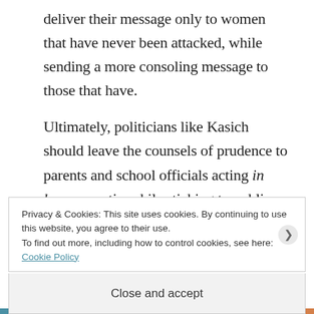deliver their message only to women that have never been attacked, while sending a more consoling message to those that have.
Ultimately, politicians like Kasich should leave the counsels of prudence to parents and school officials acting in loco parentis, while sticking to public policies that will reduce the likelihood
Privacy & Cookies: This site uses cookies. By continuing to use this website, you agree to their use.
To find out more, including how to control cookies, see here: Cookie Policy
Close and accept